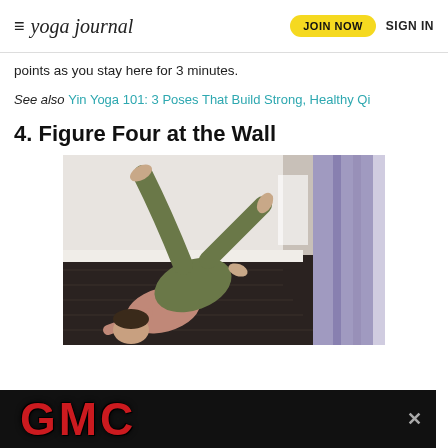yoga journal | JOIN NOW | SIGN IN
points as you stay here for 3 minutes.
See also Yin Yoga 101: 3 Poses That Build Strong, Healthy Qi
4. Figure Four at the Wall
[Figure (photo): Woman lying on her back on a dark wood floor next to a white wall, with her legs raised and crossed in a figure-four stretch against the wall, wearing olive green pants and a pink top.]
[Figure (other): GMC advertisement banner with red metallic GMC logo text on a black background with an X close button.]